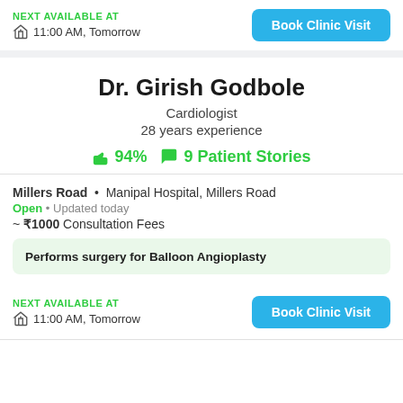NEXT AVAILABLE AT
11:00 AM, Tomorrow
Book Clinic Visit
Dr. Girish Godbole
Cardiologist
28 years experience
94%  9 Patient Stories
Millers Road • Manipal Hospital, Millers Road
Open • Updated today
~ ₹1000 Consultation Fees
Performs surgery for Balloon Angioplasty
NEXT AVAILABLE AT
11:00 AM, Tomorrow
Book Clinic Visit